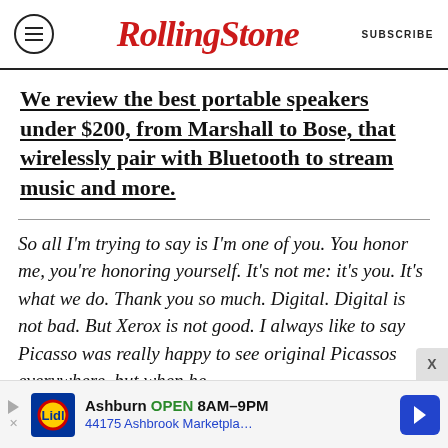RollingStone | SUBSCRIBE
We review the best portable speakers under $200, from Marshall to Bose, that wirelessly pair with Bluetooth to stream music and more.
So all I'm trying to say is I'm one of you. You honor me, you're honoring yourself. It's not me: it's you. It's what we do. Thank you so much. Digital. Digital is not bad. But Xerox is not good. I always like to say Picasso was really happy to see original Picassos everywhere, but when he
[Figure (infographic): Lidl advertisement banner: Ashburn OPEN 8AM-9PM, 44175 Ashbrook Marketpla...]